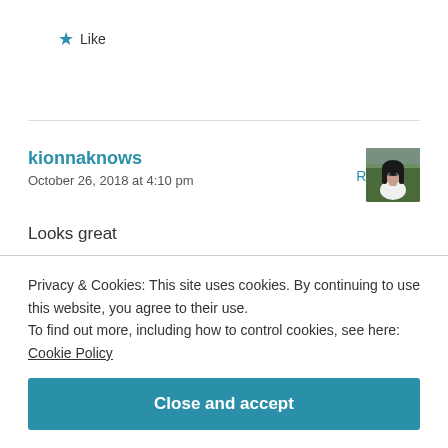★ Like
Reply
kionnaknows
October 26, 2018 at 4:10 pm
[Figure (photo): Small avatar photo of a woman with dark hair wearing a white top, against an outdoor background]
Looks great
★ Liked by 1 people
Privacy & Cookies: This site uses cookies. By continuing to use this website, you agree to their use.
To find out more, including how to control cookies, see here: Cookie Policy
Close and accept